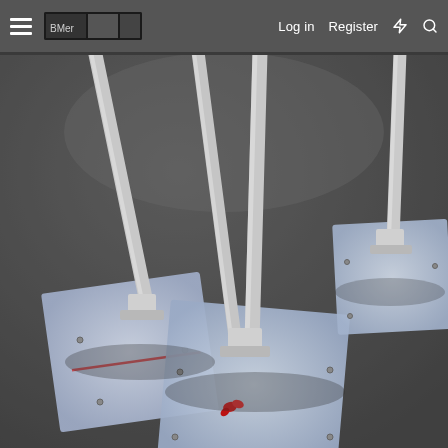☰  [logo]  Log in  Register  ⚡  🔍
[Figure (photo): Outdoor photo showing metal poles/posts anchored to square base plates on a dark asphalt surface. Two groups of poles are visible: one on the left side and two on the right. The base plates are square, light blue-grey in color, and the poles are white/grey metal tubes. A small red flower or leaf is visible on the ground in the lower center.]